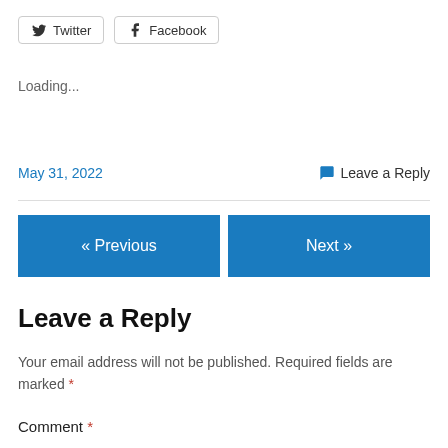[Figure (other): Social share buttons: Twitter and Facebook]
Loading...
May 31, 2022   💬 Leave a Reply
[Figure (other): Navigation buttons: « Previous and Next »]
Leave a Reply
Your email address will not be published. Required fields are marked *
Comment *